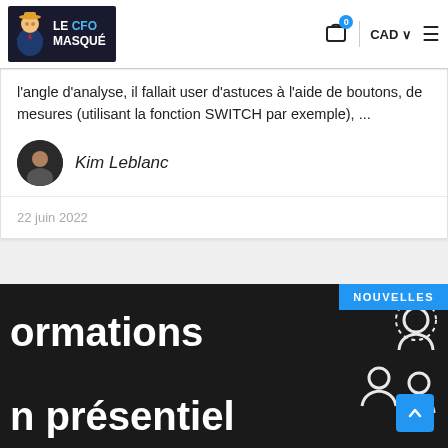[Figure (logo): Le CFO Masqué logo with mascot figure on dark background]
l'angle d'analyse, il fallait user d'astuces à l'aide de boutons, de mesures (utilisant la fonction SWITCH par exemple), ...
Kim Leblanc
22 juin 2022
[Figure (screenshot): Dark banner with white bold text 'formations' and 'présentiel' and people icons on the right, with NOUVELLES badge in blue]